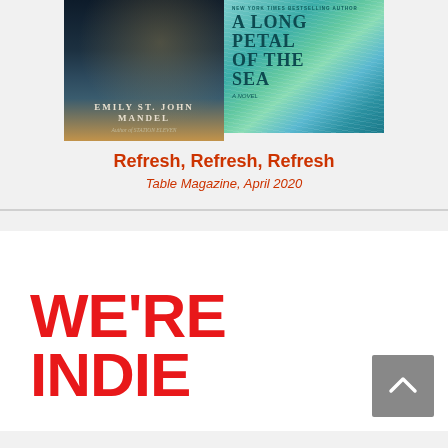[Figure (illustration): Two book covers side by side: left is a dark atmospheric novel cover with 'EMILY ST. JOHN MANDEL' and 'Author of STATION ELEVEN' text; right is a colorful blue-green patterned cover titled 'A LONG PETAL OF THE SEA' labeled as a New York Times bestselling author novel.]
Refresh, Refresh, Refresh
Table Magazine, April 2020
WE'RE
INDIE